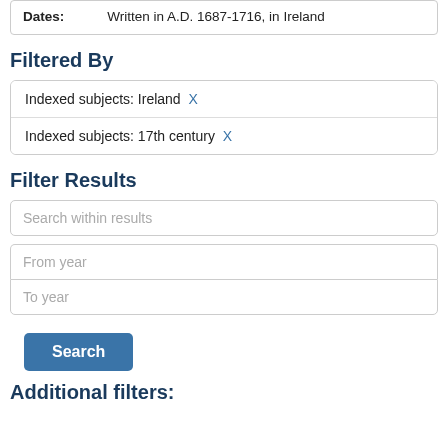| Dates: | Written in A.D. 1687-1716, in Ireland |
Filtered By
Indexed subjects: Ireland X
Indexed subjects: 17th century X
Filter Results
Search within results
From year
To year
Search
Additional filters: